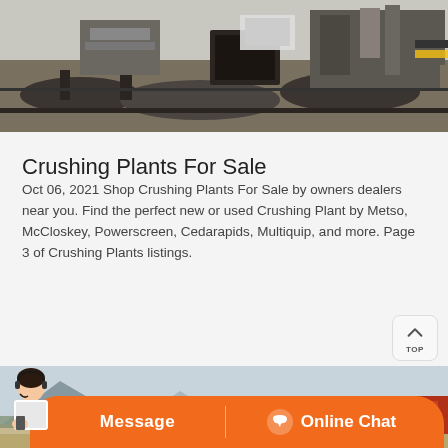[Figure (photo): Industrial crushing plant machinery on rocky ground with heavy equipment]
Crushing Plants For Sale
Oct 06, 2021 Shop Crushing Plants For Sale by owners dealers near you. Find the perfect new or used Crushing Plant by Metso, McCloskey, Powerscreen, Cedarapids, Multiquip, and more. Page 3 of Crushing Plants listings.
[Figure (photo): Outdoor quarry or mining site with mountains in background, blue tarp structures, sandy terrain, and red machinery]